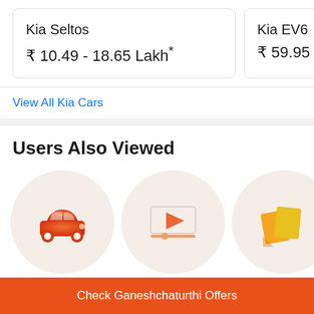Kia Seltos
₹ 10.49 - 18.65 Lakh*
Kia EV6
₹ 59.95 - 64.95
View All Kia Cars
Users Also Viewed
[Figure (illustration): Orange car icon inside a light orange circle]
[Figure (illustration): Video play button icon inside a light orange circle]
[Figure (illustration): Yellow/orange price tag / scissors icon inside a light orange circle]
Kia Sonet
Videos
Colours
Check Ganeshchaturthi Offers